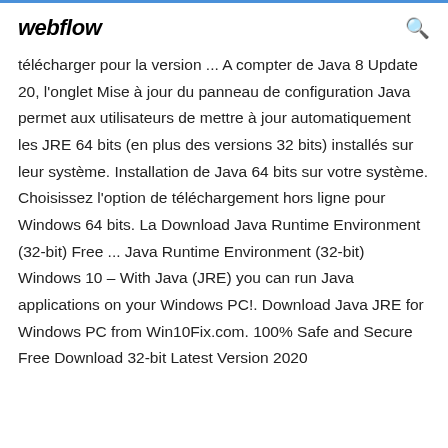webflow
télécharger pour la version ... A compter de Java 8 Update 20, l'onglet Mise à jour du panneau de configuration Java permet aux utilisateurs de mettre à jour automatiquement les JRE 64 bits (en plus des versions 32 bits) installés sur leur système. Installation de Java 64 bits sur votre système. Choisissez l'option de téléchargement hors ligne pour Windows 64 bits. La Download Java Runtime Environment (32-bit) Free ... Java Runtime Environment (32-bit) Windows 10 – With Java (JRE) you can run Java applications on your Windows PC!. Download Java JRE for Windows PC from Win10Fix.com. 100% Safe and Secure Free Download 32-bit Latest Version 2020